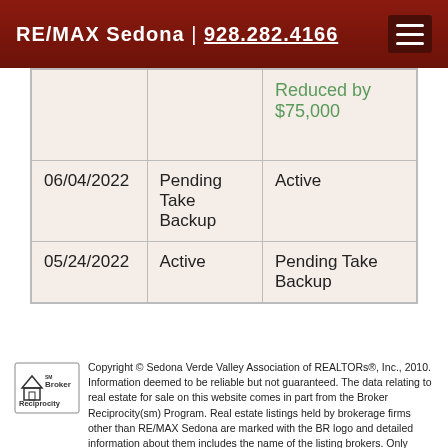RE/MAX Sedona | 928.282.4166
|  |  | Reduced by $75,000 |
| 06/04/2022 | Pending Take Backup | Active |
| 05/24/2022 | Active | Pending Take Backup |
[Figure (logo): Broker Reciprocity logo with house icon]
Copyright © Sedona Verde Valley Association of REALTORs®, Inc., 2010. Information deemed to be reliable but not guaranteed. The data relating to real estate for sale on this website comes in part from the Broker Reciprocity(sm) Program. Real estate listings held by brokerage firms other than RE/MAX Sedona are marked with the BR logo and detailed information about them includes the name of the listing brokers. Only residential real estate listings are shown from the IDX database. IDX information is provided exclusively for consumers' personal, non-commercial use